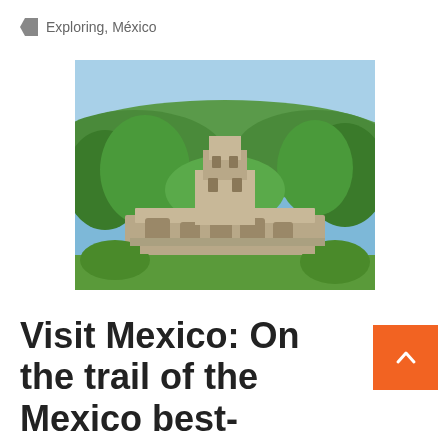Exploring, México
[Figure (photo): Aerial view of ancient Maya ruins at Palenque, Mexico, surrounded by lush green jungle and trees, with stone temple structures and a tower visible under a blue sky.]
Visit Mexico: On the trail of the Mexico best-